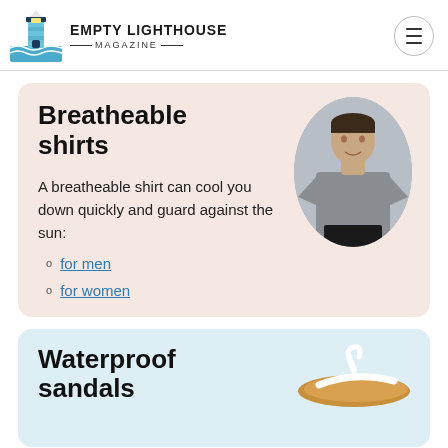EMPTY LIGHTHOUSE MAGAZINE
Breatheable shirts
A breatheable shirt can cool you down quickly and guard against the sun:
for men
for women
[Figure (photo): Man wearing a gray breathable t-shirt, shown in an oval crop]
Waterproof sandals
[Figure (photo): A pair of waterproof flip-flop sandals, tan with white straps]